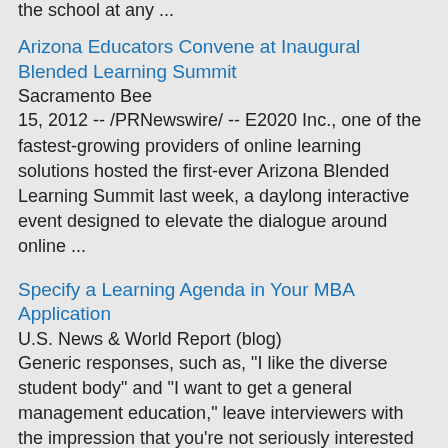the school at any ...
Arizona Educators Convene at Inaugural Blended Learning Summit
Sacramento Bee
15, 2012 -- /PRNewswire/ -- E2020 Inc., one of the fastest-growing providers of online learning solutions hosted the first-ever Arizona Blended Learning Summit last week, a daylong interactive event designed to elevate the dialogue around online ...
Specify a Learning Agenda in Your MBA Application
U.S. News & World Report (blog)
Generic responses, such as, "I like the diverse student body" and "I want to get a general management education," leave interviewers with the impression that you're not seriously interested in their school, writes Soojin Kwon, the director of
...
[Figure (other): Broken image icon]
U.S. News & World Report (blog)
Stanford School of Education course tackles challenges of